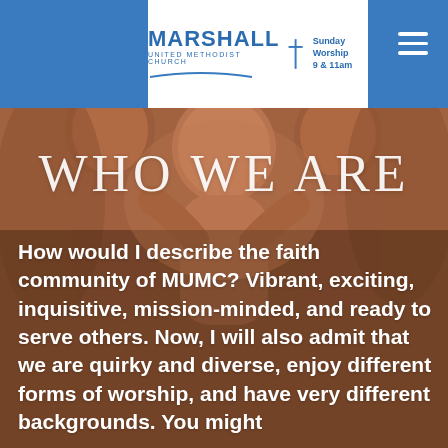MARSHALL UNITED METHODIST CHURCH | Sunday Worship 9 & 11am
[Figure (photo): Background photo of terracotta/clay sculptural figures in warm brown tones, people embracing]
WHO WE ARE
How would I describe the faith community of MUMC? Vibrant, exciting, inquisitive, mission-minded, and ready to serve others. Now, I will also admit that we are quirky and diverse, enjoy different forms of worship, and have very different backgrounds. You might